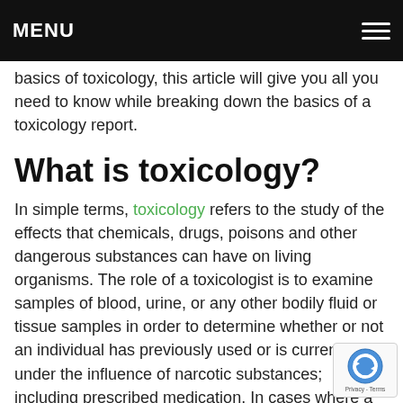MENU
basics of toxicology, this article will give you all you need to know while breaking down the basics of a toxicology report.
What is toxicology?
In simple terms, toxicology refers to the study of the effects that chemicals, drugs, poisons and other dangerous substances can have on living organisms. The role of a toxicologist is to examine samples of blood, urine, or any other bodily fluid or tissue samples in order to determine whether or not an individual has previously used or is currently under the influence of narcotic substances; including prescribed medication. In cases where a toxicologist is called to present their findings in court as an expert witness, they will use their knowledge in order to unpack the details of a toxicology report to explain and resolve legal questions